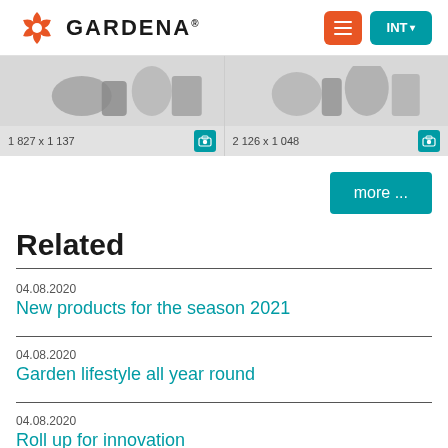[Figure (logo): GARDENA logo with orange pinwheel icon and GARDENA text]
[Figure (screenshot): Two product image thumbnails with dimensions '1 827 x 1 137' and '2 126 x 1 048' and teal camera icons]
more ...
Related
04.08.2020
New products for the season 2021
04.08.2020
Garden lifestyle all year round
04.08.2020
Roll up for innovation